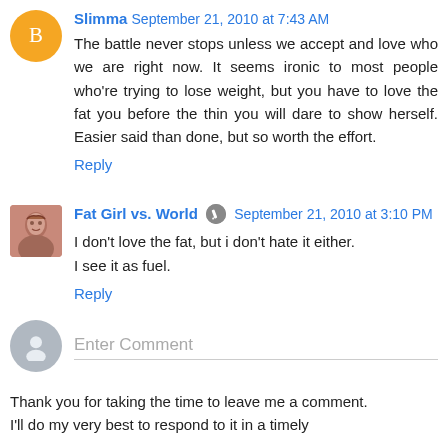Slimma September 21, 2010 at 7:43 AM
The battle never stops unless we accept and love who we are right now. It seems ironic to most people who're trying to lose weight, but you have to love the fat you before the thin you will dare to show herself. Easier said than done, but so worth the effort.
Reply
Fat Girl vs. World September 21, 2010 at 3:10 PM
I don't love the fat, but i don't hate it either.
I see it as fuel.
Reply
Enter Comment
Thank you for taking the time to leave me a comment.
I'll do my very best to respond to it in a timely